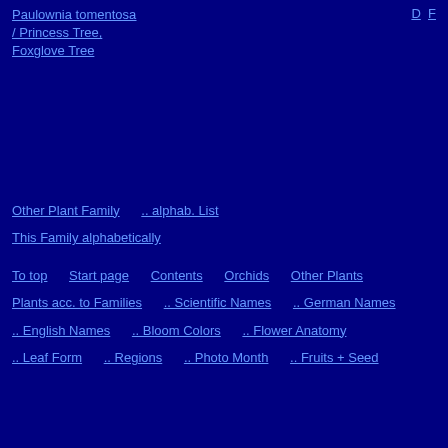Paulownia tomentosa / Princess Tree, Foxglove Tree
D F
Other Plant Family .. alphab. List
This Family alphabetically
To top   Start page   Contents   Orchids   Other Plants
Plants acc. to Families   .. Scientific Names   .. German Names
.. English Names   .. Bloom Colors   .. Flower Anatomy
.. Leaf Form   .. Regions   .. Photo Month   .. Fruits + Seed